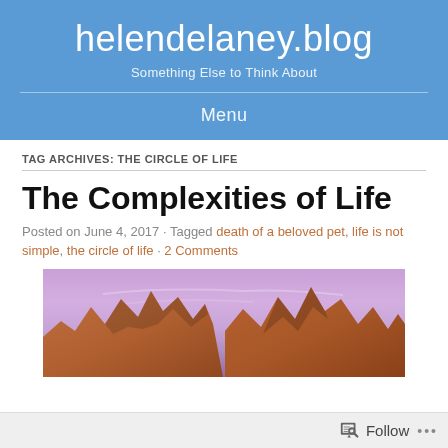helendelaney.blog
Something Else to Think About
Menu
TAG ARCHIVES: THE CIRCLE OF LIFE
The Complexities of Life
Posted on June 4, 2017 · Tagged death of a beloved pet, life is not simple, the circle of life · 2 Comments
[Figure (photo): Landscape photo showing red rock formations (likely Sedona or similar desert scenery) against a pink/purple sky at dusk or dawn.]